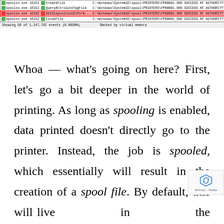[Figure (screenshot): Screenshot of a process monitor/log tool showing spoolsv.exe process entries with file operations (CreateFile, QueryAttributeTagFile, SetDispositionInform, CloseFile) on C:\Windows\System32\spool\PRINTERS\FP00001.SHD with SUCCESS result and NT AUTHORITY\SYSTEM user. One row is highlighted in red/pink. Status bar shows 'Showing 58 of 1,147,792 events (0.0050%)' and 'Backed by virtual memory'.]
Whoa — what's going on here? First, let's go a bit deeper in the world of printing. As long as spooling is enabled, data printed doesn't directly go to the printer. Instead, the job is spooled, which essentially will result in the creation of a spool file. By default, this will live in the c:\windows\system32\spool\PRIN... directory, but that is actually customizable on